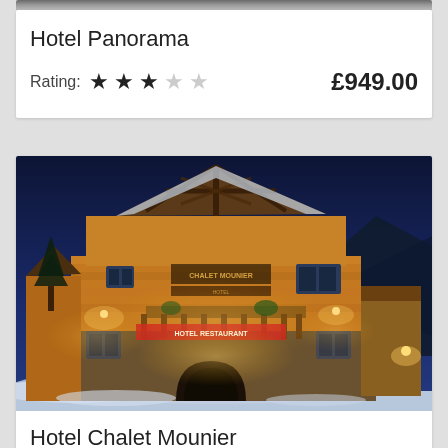Hotel Panorama
Rating: ★ ★ ★ ☆ ☆   £949.00
[Figure (photo): Night-time exterior photo of Hotel Chalet Mounier, a large wooden Alpine chalet building illuminated with warm golden lights against a deep blue night sky, with snow on the ground.]
Hotel Chalet Mounier